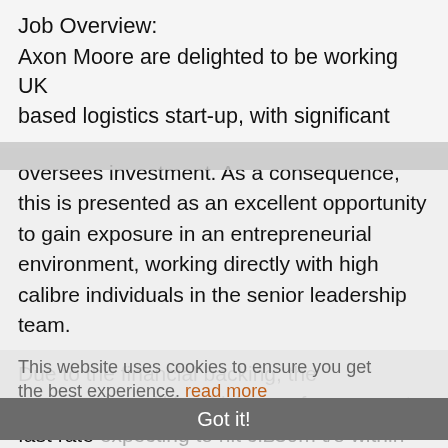Job Overview:
Axon Moore are delighted to be working UK based logistics start-up, with significant oversees investment. As a consequence, this is presented as an excellent opportunity to gain exposure in an entrepreneurial environment, working directly with high calibre individuals in the senior leadership team.
Due to the financial backing, the organisation will be driving performance at a fast rate expecting to hit c.£30m t/o within 2/3 years. Therefore, the Financial Controller will be building out a finance team, with the help of this role acting as their number two. This set up provides unrivalled progression as there will be significant opportunity to step into more senior
This website uses cookies to ensure you get the best experience. read more
Got it!